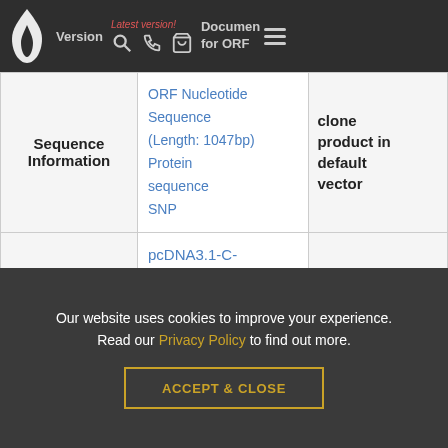Version | Latest version! | ORF Nucleotide Sequence | Document for ORF clone product in default vector
|  | Links | Documents |
| --- | --- | --- |
| Sequence Information | ORF Nucleotide Sequence (Length: 1047bp)
Protein sequence
SNP | Document for ORF clone product in default vector |
| Vector | pcDNA3.1-C-(k)DYK or customized vector | User Manual |
| Clone information | Clone Map | MSDS |
Our website uses cookies to improve your experience. Read our Privacy Policy to find out more.
ACCEPT & CLOSE